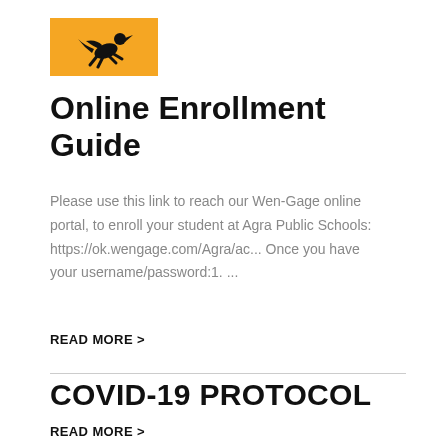[Figure (logo): Orange square logo with a running/leaping animal mascot silhouette in black]
Online Enrollment Guide
Please use this link to reach our Wen-Gage online portal, to enroll your student at Agra Public Schools: https://ok.wengage.com/Agra/ac... Once you have your username/password:1. ...
READ MORE >
COVID-19 PROTOCOL
READ MORE >